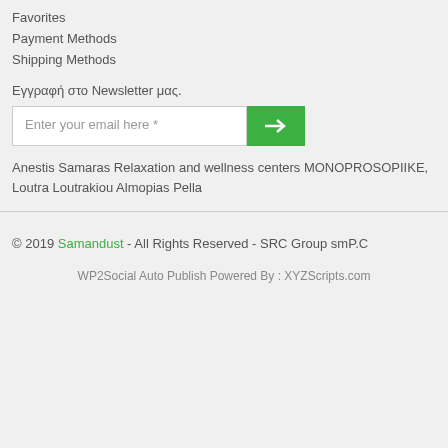Favorites
Payment Methods
Shipping Methods
Εγγραφή στο Newsletter μας.
Enter your email here *
Anestis Samaras Relaxation and wellness centers MONOPROSOPIIKE, Loutra Loutrakiou Almopias Pella
© 2019 Samandust - All Rights Reserved - SRC Group smP.C
WP2Social Auto Publish Powered By : XYZScripts.com